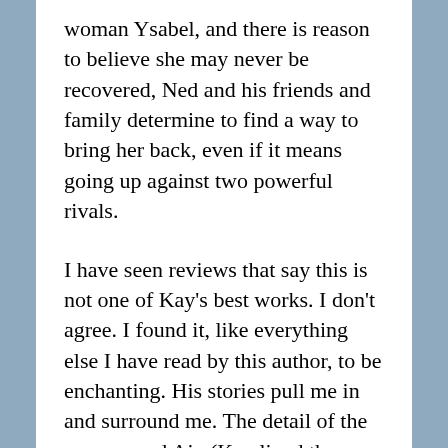woman Ysabel, and there is reason to believe she may never be recovered, Ned and his friends and family determine to find a way to bring her back, even if it means going up against two powerful rivals.
I have seen reviews that say this is not one of Kay's best works. I don't agree. I found it, like everything else I have read by this author, to be enchanting. His stories pull me in and surround me. The detail of the area around Aix (Kay lived there for a time) is meticulous, but doesn't get in the way of the story. The fantasy elements are woven into Ned's story well. The story of the centuries old